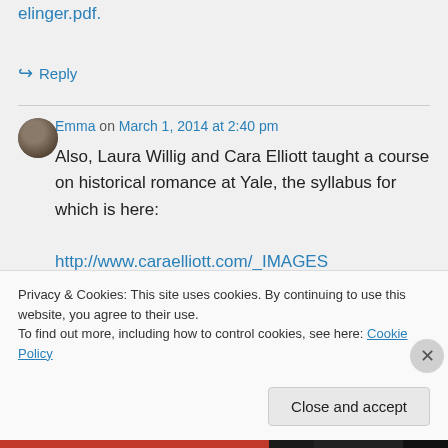elinger.pdf.
↪ Reply
Emma on March 1, 2014 at 2:40 pm
Also, Laura Willig and Cara Elliott taught a course on historical romance at Yale, the syllabus for which is here:
http://www.caraelliott.com/_IMAGES
Privacy & Cookies: This site uses cookies. By continuing to use this website, you agree to their use.
To find out more, including how to control cookies, see here: Cookie Policy
Close and accept